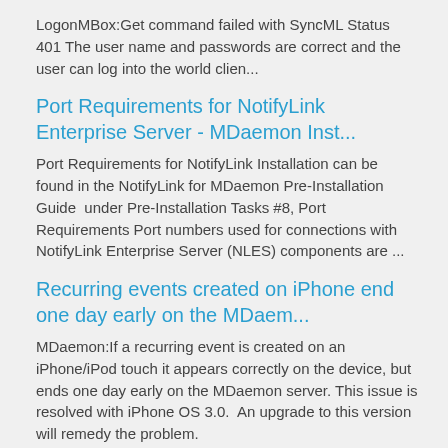LogonMBox:Get command failed with SyncML Status 401 The user name and passwords are correct and the user can log into the world clien...
Port Requirements for NotifyLink Enterprise Server - MDaemon Inst...
Port Requirements for NotifyLink Installation can be found in the NotifyLink for MDaemon Pre-Installation Guide  under Pre-Installation Tasks #8, Port Requirements Port numbers used for connections with NotifyLink Enterprise Server (NLES) components are ...
Recurring events created on iPhone end one day early on the MDaem...
MDaemon:If a recurring event is created on an iPhone/iPod touch it appears correctly on the device, but ends one day early on the MDaemon server. This issue is resolved with iPhone OS 3.0.  An upgrade to this version will remedy the problem.